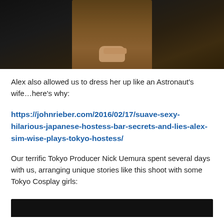[Figure (photo): Photo of a person wearing a brown/gold textured dress, hands clasped in front, against a dark background. Only the torso and hands are visible.]
Alex also allowed us to dress her up like an Astronaut's wife…here's why:
https://johnrieber.com/2016/02/17/suave-sexy-hilarious-japanese-hostess-bar-secrets-and-lies-alex-sim-wise-plays-tokyo-hostess/
Our terrific Tokyo Producer Nick Uemura spent several days with us, arranging unique stories like this shoot with some Tokyo Cosplay girls:
[Figure (photo): Partial view of another photo at the bottom of the page, dark background.]